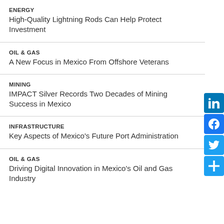ENERGY
High-Quality Lightning Rods Can Help Protect Investment
OIL & GAS
A New Focus in Mexico From Offshore Veterans
MINING
IMPACT Silver Records Two Decades of Mining Success in Mexico
INFRASTRUCTURE
Key Aspects of Mexico's Future Port Administration
OIL & GAS
Driving Digital Innovation in Mexico's Oil and Gas Industry